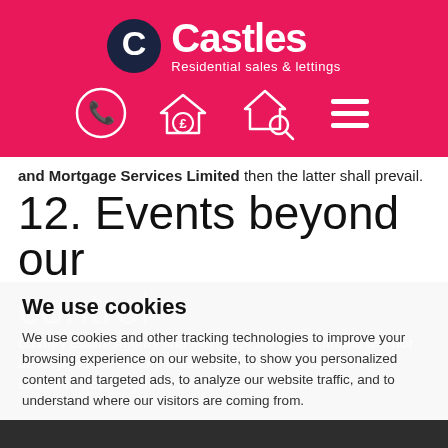[Figure (logo): Castles Estate Agents logo with pink background, white C circle icon, 'Castles' text and 'Residential sales & lettings' subtitle, plus navigation icons (phone, property search with pound sign, property search with magnifier, hamburger menu)]
and Mortgage Services Limited then the latter shall prevail.
12. Events beyond our control
We use cookies
We use cookies and other tracking technologies to improve your browsing experience on our website, to show you personalized content and targeted ads, to analyze our website traffic, and to understand where our visitors are coming from.
Castles Estate Agents and Mortgage Services Limited will not be responsible for any breach of these terms caused by circumstances beyond its reasonable control.